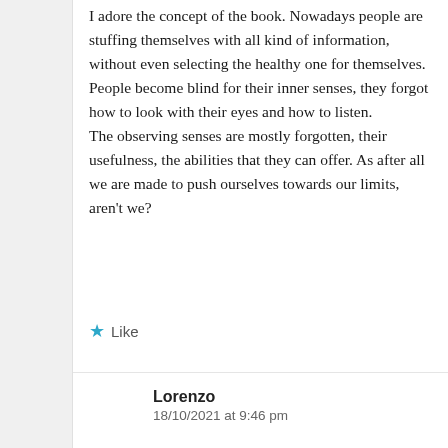I adore the concept of the book. Nowadays people are stuffing themselves with all kind of information, without even selecting the healthy one for themselves. People become blind for their inner senses, they forgot how to look with their eyes and how to listen.
The observing senses are mostly forgotten, their usefulness, the abilities that they can offer. As after all we are made to push ourselves towards our limits, aren't we?
★ Like
Lorenzo
18/10/2021 at 9:46 pm